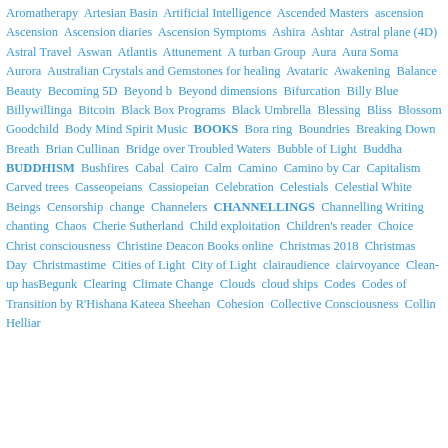Aromatherapy  Artesian Basin  Artificial Intelligence  Ascended Masters  ascension  Ascension  Ascension diaries  Ascension Symptoms  Ashira  Ashtar  Astral plane (4D)  Astral Travel  Aswan  Atlantis  Attunement  A turban Group  Aura  Aura Soma  Aurora  Australian Crystals and Gemstones for healing  Avataric  Awakening  Balance  Beauty  Becoming 5D  Beyond b  Beyond dimensions  Bifurcation  Billy Blue  Billywillinga  Bitcoin  Black Box Programs  Black Umbrella  Blessing  Bliss  Blossom Goodchild  Body Mind Spirit Music  BOOKS  Bora ring  Boundries  Breaking Down  Breath  Brian Cullinan  Bridge over Troubled Waters  Bubble of Light  Buddha  BUDDHISM  Bushfires  Cabal  Cairo  Calm  Camino  Camino by Car  Capitalism  Carved trees  Casseopeians  Cassiopeian  Celebration  Celestials  Celestial White Beings  Censorship  change  Channelers  CHANNELLINGS  Channelling Writing  chanting  Chaos  Cherie Sutherland  Child exploitation  Children's reader  Choice  Christ consciousness  Christine Deacon Books online  Christmas 2018  Christmas Day  Christmastime  Cities of Light  City of Light  clairaudience  clairvoyance  Clean-up hasBegunk  Clearing  Climate Change  Clouds  cloud ships  Codes  Codes of Transition by R'Hishana Kateea Sheehan  Cohesion  Collective Consciousness  Collin Helliar